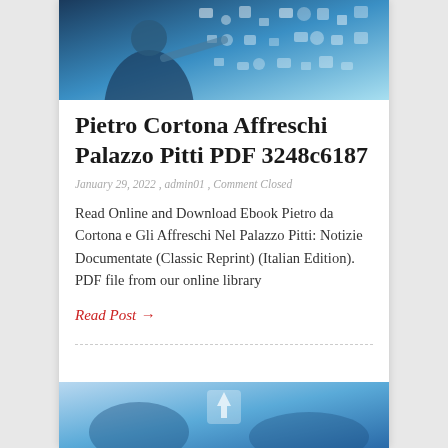[Figure (photo): Hero image of a person pointing at floating digital/technology icons on a blue background]
Pietro Cortona Affreschi Palazzo Pitti PDF 3248c6187
January 29, 2022 , admin01 , Comment Closed
Read Online and Download Ebook Pietro da Cortona e Gli Affreschi Nel Palazzo Pitti: Notizie Documentate (Classic Reprint) (Italian Edition). PDF file from our online library
Read Post →
[Figure (photo): Partial bottom image showing a blue-toned technology or digital concept photo]